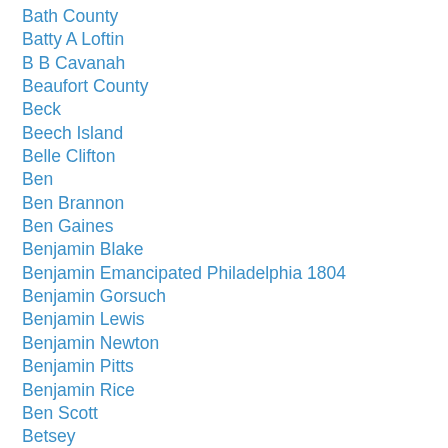Bath County
Batty A Loftin
B B Cavanah
Beaufort County
Beck
Beech Island
Belle Clifton
Ben
Ben Brannon
Ben Gaines
Benjamin Blake
Benjamin Emancipated Philadelphia 1804
Benjamin Gorsuch
Benjamin Lewis
Benjamin Newton
Benjamin Pitts
Benjamin Rice
Ben Scott
Betsey
Betty Coachman
Betty Outlaw